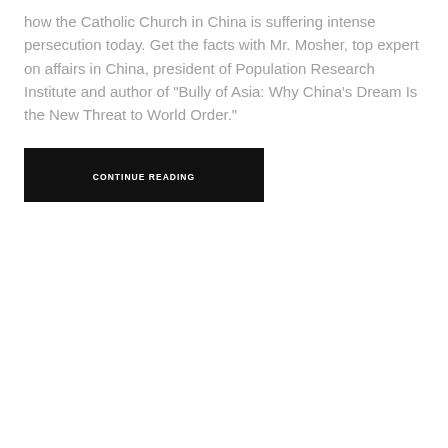how the Catholic Church in China is suffering intense persecution today. Get the facts with Mr. Mosher, top expert on affairs in China, president of Population Research Institute and author of "Bully of Asia: Why China's Dream Is the New Threat to World Order."
CONTINUE READING